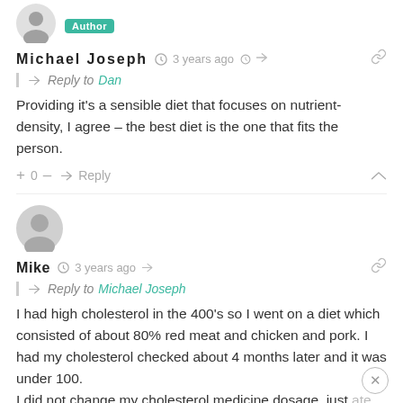[Figure (illustration): Avatar image of Michael Joseph (author) with teal 'Author' badge]
Michael Joseph  3 years ago
Reply to Dan
Providing it’s a sensible diet that focuses on nutrient-density, I agree – the best diet is the one that fits the person.
+ 0 –   Reply
[Figure (illustration): Generic grey avatar icon for user Mike]
Mike  3 years ago
Reply to Michael Joseph
I had high cholesterol in the 400’s so I went on a diet which consisted of about 80% red meat and chicken and pork. I had my cholesterol checked about 4 months later and it was under 100.
I did not change my cholesterol medicine dosage, just ate more red meat.
My doctor asked what I was doing so I told him more